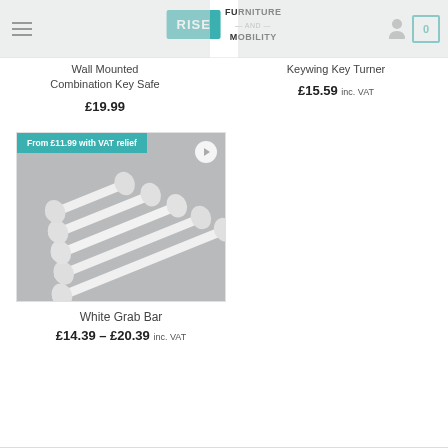Rise Furniture and Mobility - navigation header with logo
Wall Mounted Combination Key Safe
£19.99
Keywing Key Turner
£15.59 inc. VAT
[Figure (photo): White grab bars angled across a grey surface, showing multiple sizes]
From £11.99 with VAT relief
White Grab Bar
£14.39 – £20.39 inc. VAT